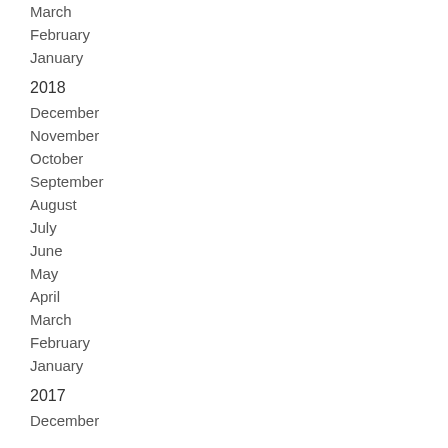March
February
January
2018
December
November
October
September
August
July
June
May
April
March
February
January
2017
December